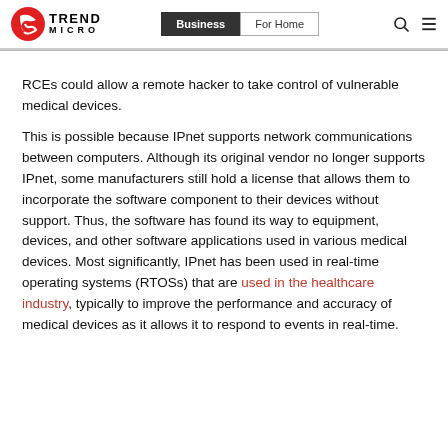Trend Micro — Business | For Home
RCEs could allow a remote hacker to take control of vulnerable medical devices.
This is possible because IPnet supports network communications between computers. Although its original vendor no longer supports IPnet, some manufacturers still hold a license that allows them to incorporate the software component to their devices without support. Thus, the software has found its way to equipment, devices, and other software applications used in various medical devices. Most significantly, IPnet has been used in real-time operating systems (RTOSs) that are used in the healthcare industry, typically to improve the performance and accuracy of medical devices as it allows it to respond to events in real-time.